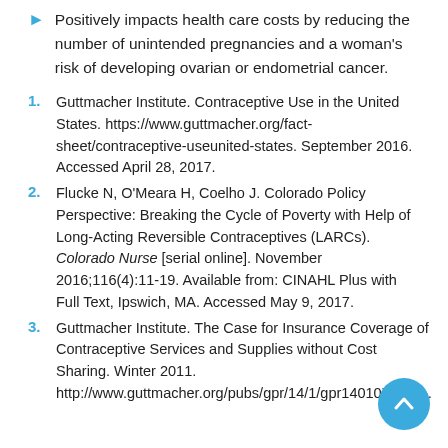Positively impacts health care costs by reducing the number of unintended pregnancies and a woman's risk of developing ovarian or endometrial cancer.
1. Guttmacher Institute. Contraceptive Use in the United States. https://www.guttmacher.org/fact-sheet/contraceptive-useunited-states. September 2016. Accessed April 28, 2017.
2. Flucke N, O'Meara H, Coelho J. Colorado Policy Perspective: Breaking the Cycle of Poverty with Help of Long-Acting Reversible Contraceptives (LARCs). Colorado Nurse [serial online]. November 2016;116(4):11-19. Available from: CINAHL Plus with Full Text, Ipswich, MA. Accessed May 9, 2017.
3. Guttmacher Institute. The Case for Insurance Coverage of Contraceptive Services and Supplies without Cost Sharing. Winter 2011. http://www.guttmacher.org/pubs/gpr/14/1/gpr140107.html